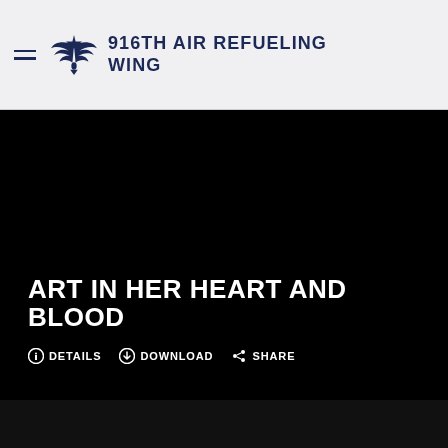916TH AIR REFUELING WING
[Figure (screenshot): Black image panel with text overlay showing 'ART IN HER HEART AND BLOOD' with DETAILS, DOWNLOAD, and SHARE action buttons at the bottom]
ART IN HER HEART AND BLOOD
DETAILS   DOWNLOAD   SHARE
[Figure (photo): Second black image panel below the first, partially visible at bottom of page]